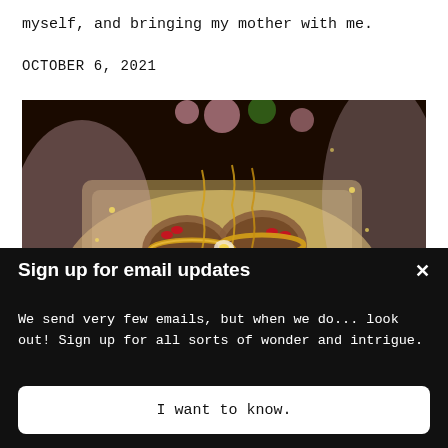myself, and bringing my mother with me.
OCTOBER 6, 2021
[Figure (photo): Close-up photo of Indian bridal hands adorned with mehndi (henna), gold bangles and jewelry, holding flowers, with red rose garlands and gold decorations visible in the background.]
Sign up for email updates
We send very few emails, but when we do... look out! Sign up for all sorts of wonder and intrigue.
I want to know.